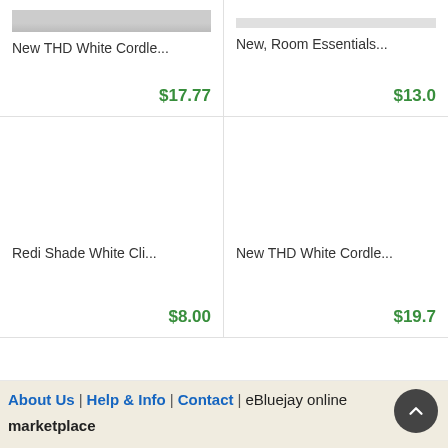New THD White Cordle...
$17.77
New, Room Essentials...
$13.0
Redi Shade White Cli...
$8.00
New THD White Cordle...
$19.7
About Us | Help & Info | Contact | eBluejay online marketplace